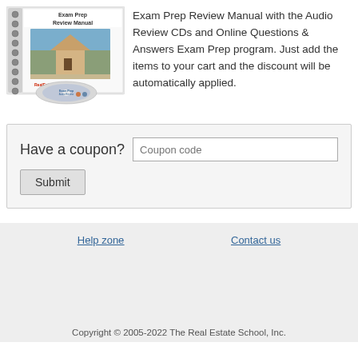[Figure (photo): Spiral-bound Exam Prep Review Manual book with a house photo on the cover and an audio review CD in front of it, with RealEstateU branding visible.]
Exam Prep Review Manual with the Audio Review CDs and Online Questions & Answers Exam Prep program. Just add the items to your cart and the discount will be automatically applied.
Have a coupon?
Submit
Help zone
Contact us
Copyright © 2005-2022 The Real Estate School, Inc.